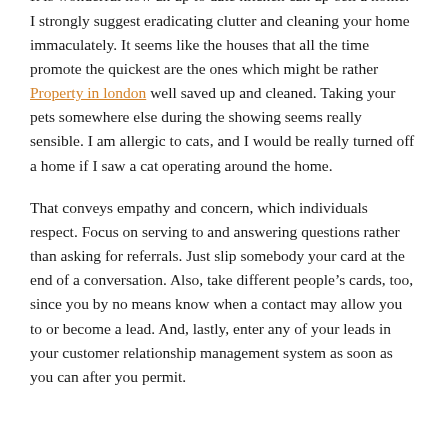place the place house sales fall apart. It solely is sensible to deal with the issues before hand.
It is wonderful how an up to date kitchen can up-sell a home. I strongly suggest eradicating clutter and cleaning your home immaculately. It seems like the houses that all the time promote the quickest are the ones which might be rather Property in london well saved up and cleaned. Taking your pets somewhere else during the showing seems really sensible. I am allergic to cats, and I would be really turned off a home if I saw a cat operating around the home.
That conveys empathy and concern, which individuals respect. Focus on serving to and answering questions rather than asking for referrals. Just slip somebody your card at the end of a conversation. Also, take different people’s cards, too, since you by no means know when a contact may allow you to or become a lead. And, lastly, enter any of your leads in your customer relationship management system as soon as you can after you permit.